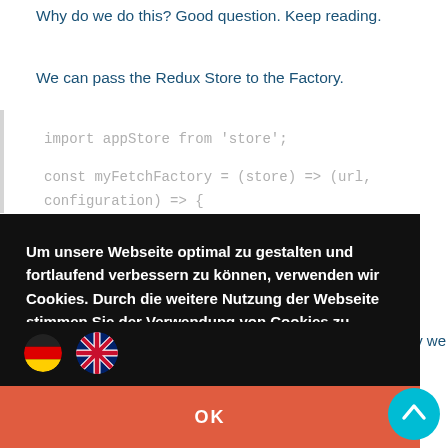Why do we do this? Good question. Keep reading.
We can pass the Redux Store to the Factory.
import appStore from 'store';

const myFetchFactory = (store) => (url,
configuration) => {
Um unsere Webseite optimal zu gestalten und fortlaufend verbessern zu können, verwenden wir Cookies. Durch die weitere Nutzung der Webseite stimmen Sie der Verwendung von Cookies zu gemäss Datenschutzrichtlinie
ry we
OK
const token = store.getState().user.token;